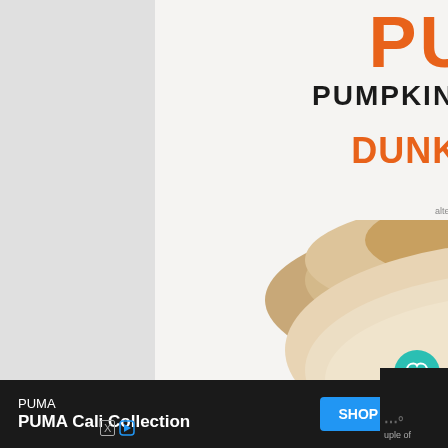PUMPKIN
PUMPKIN CREAM COLD BREW
DUNKIN'
ORDER NOW
Participation may vary. Limited time offer. Terms apply. Dairy alternatives, espresso shots, flavors and cold foam may be an additional charge.
[Figure (photo): A Dunkin' Pumpkin Cream Cold Brew drink in a clear cup with creamy foam topping and cinnamon, the cup showing the Dunkin' logo in orange letters on a dark brown cold brew coffee background.]
PUMA
PUMA Cali Collection
SHOP NOW